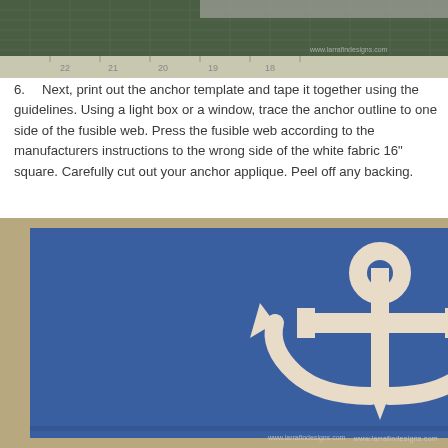[Figure (photo): Top photo showing a green cutting mat with a ruler, measuring markings visible with numbers 18, 19, 20, 21, 22 and watermark 'www.larrafindesigns.com' in bottom right corner.]
6. Next, print out the anchor template and tape it together using the guidelines. Using a light box or a window, trace the anchor outline to one side of the fusible web. Press the fusible web according to the manufacturers instructions to the wrong side of the white fabric 16" square. Carefully cut out your anchor applique. Peel off any backing.
[Figure (photo): Photo of a blue fabric square with a large white anchor applique on it, placed on a tan/beige surface. A black clothes iron is visible in the top right corner. Watermark 'www.larrafindesigns.com' in bottom right corner.]